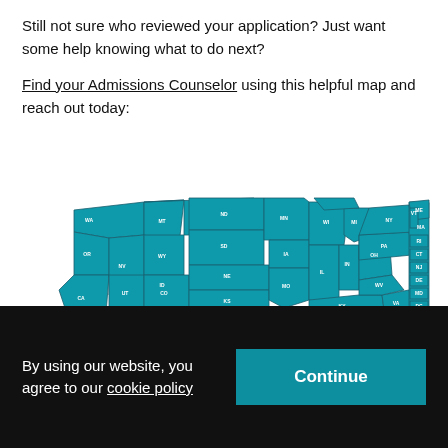Still not sure who reviewed your application? Just want some help knowing what to do next?
Find your Admissions Counselor using this helpful map and reach out today:
[Figure (map): Interactive map of the United States showing all 50 states in teal/dark cyan color with white state abbreviation labels. States visible include WA, OR, CA, NV, ID, MT, WY, UT, CO, AZ, NM, ND, SD, NE, KS, MN, IA, MO, WI, IL, IN, MI, OH, KY, TN, NC, VA, WV, PA, NY, ME, NH, VT, MA, RI, CT, NJ, DE, MD, DC. Northeastern small states shown as labeled boxes on the right side.]
By using our website, you agree to our cookie policy